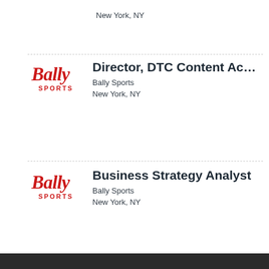New York, NY
[Figure (logo): Bally Sports logo - red script Bally with SPORTS text below]
Director, DTC Content Ac...
Bally Sports
New York, NY
[Figure (logo): Bally Sports logo - red script Bally with SPORTS text below]
Business Strategy Analyst
Bally Sports
New York, NY